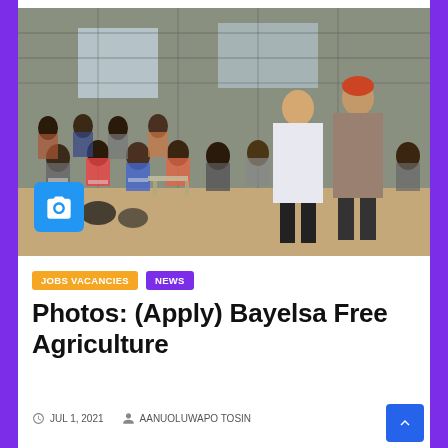[Figure (photo): Photo of a large gathering of people seated in an open-air hall or pavilion with metal roof and metal grid walls, with two people standing in the foreground and a camera icon badge overlay in the bottom left corner.]
JOBS VACANCIES    NEWS
Photos: (Apply) Bayelsa Free Agriculture
JUL 1, 2021    AANUOLUWAPO TOSIN